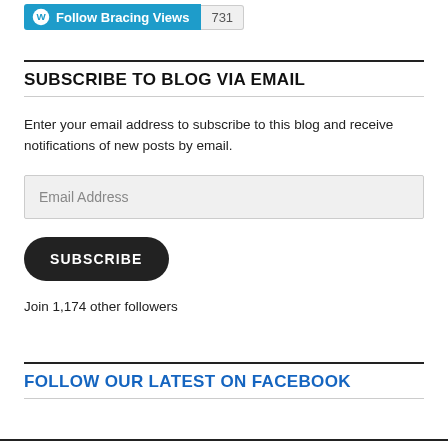[Figure (other): WordPress Follow Bracing Views button with follower count 731]
SUBSCRIBE TO BLOG VIA EMAIL
Enter your email address to subscribe to this blog and receive notifications of new posts by email.
[Figure (other): Email Address input field]
[Figure (other): SUBSCRIBE button (dark rounded)]
Join 1,174 other followers
FOLLOW OUR LATEST ON FACEBOOK